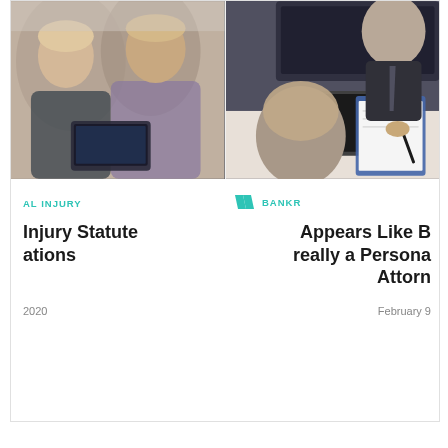[Figure (photo): Two people in business attire smiling and looking at a tablet or laptop, office setting]
[Figure (photo): A man in a suit writing on a clipboard with a laptop open on the table, meeting setting]
AL INJURY
BANKR
Injury Statute ations
Appears Like B really a Persona Attorn
2020
February 9